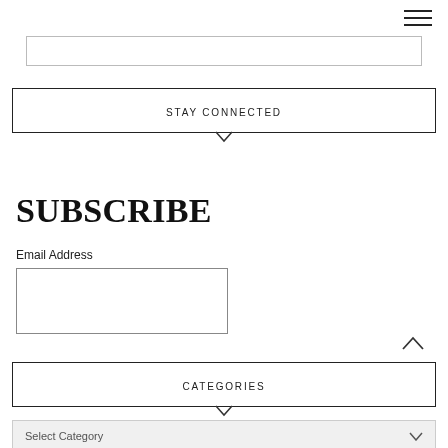[Figure (other): Hamburger menu icon (three horizontal lines) in top right corner]
[Figure (other): Search input box, partially visible at top of page]
STAY CONNECTED
SUBSCRIBE
Email Address
[Figure (other): Empty email address input text box]
CATEGORIES
Select Category